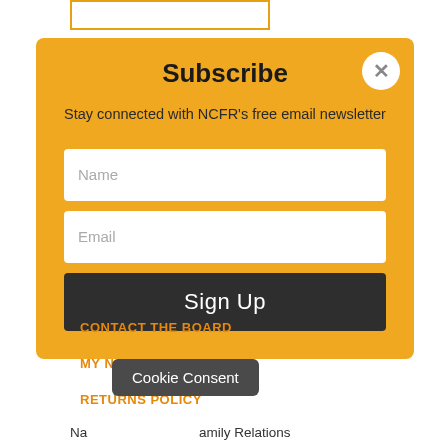[Figure (screenshot): Partially visible button with orange border at the top of the page]
Subscribe
Stay connected with NCFR's free email newsletter
Name (input field placeholder)
Email (input field placeholder)
Sign Up (button)
CONTACT THE BOARD
MY NCFR
RETURNS POLICY
Cookie Consent
Na... ...amily Relations